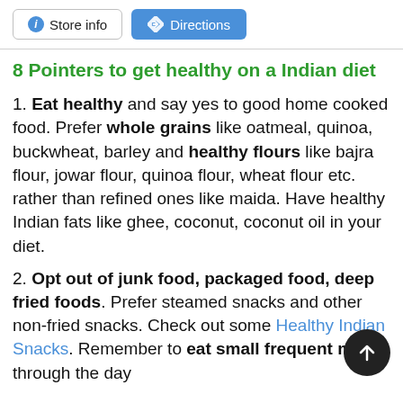[Figure (screenshot): Top bar with Store info button and Directions button]
8 Pointers to get healthy on a Indian diet
1. Eat healthy and say yes to good home cooked food. Prefer whole grains like oatmeal, quinoa, buckwheat, barley and healthy flours like bajra flour, jowar flour, quinoa flour, wheat flour etc. rather than refined ones like maida. Have healthy Indian fats like ghee, coconut, coconut oil in your diet.
2. Opt out of junk food, packaged food, deep fried foods. Prefer steamed snacks and other non-fried snacks. Check out some Healthy Indian Snacks. Remember to eat small frequent meals through the day